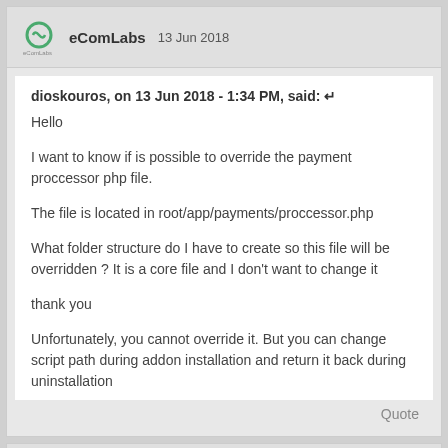eComLabs 13 Jun 2018
dioskouros, on 13 Jun 2018 - 1:34 PM, said:
Hello

I want to know if is possible to override the payment proccessor php file.

The file is located in root/app/payments/proccessor.php

What folder structure do I have to create so this file will be overridden ? It is a core file and I don't want to change it

thank you

Unfortunately, you cannot override it. But you can change script path during addon installation and return it back during uninstallation
dioskouros 13 Jun 2018
Can you please explain how I can do this ?